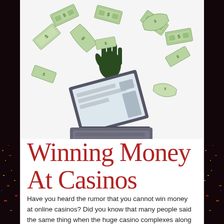[Figure (illustration): A laptop computer with dollar bills flying out of the screen, floating in the air above the keyboard. The background is white/light gray.]
Winning Money At Casinos
Have you heard the rumor that you cannot win money at online casinos? Did you know that many people said the same thing when the huge casino complexes along the coastlines and in Las Vegas were developed? They are